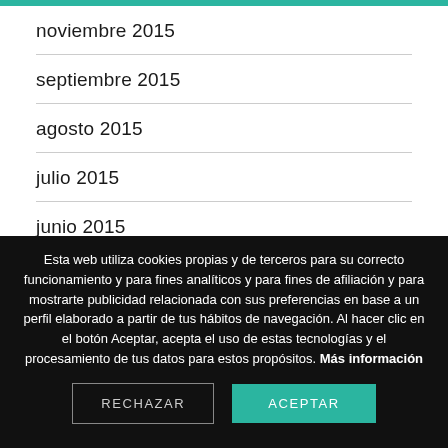noviembre 2015
septiembre 2015
agosto 2015
julio 2015
junio 2015
mayo 2015
abril 2015
Esta web utiliza cookies propias y de terceros para su correcto funcionamiento y para fines analíticos y para fines de afiliación y para mostrarte publicidad relacionada con sus preferencias en base a un perfil elaborado a partir de tus hábitos de navegación. Al hacer clic en el botón Aceptar, acepta el uso de estas tecnologías y el procesamiento de tus datos para estos propósitos. Más información
RECHAZAR
ACEPTAR